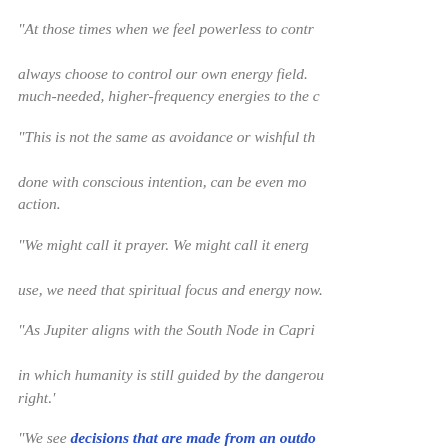“At those times when we feel powerless to control what is happening around us, we can always choose to control our own energy field. We can choose to contribute much-needed, higher-frequency energies to the collective field.
“This is not the same as avoidance or wishful thinking. Intentional prayer or meditation, done with conscious intention, can be even more powerful than outer action.
“We might call it prayer. We might call it energy work. Whatever name we use, we need that spiritual focus and energy now.
“As Jupiter aligns with the South Node in Capricorn, we see the shadow of Capricorn, in which humanity is still guided by the dangerous belief that ‘might makes right.’
“We see decisions that are made from an outdated reality, one in which dominance and arrogance are perhaps even admired.